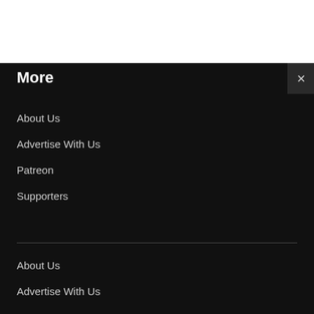More
About Us
Advertise With Us
Patreon
Supporters
About Us
Advertise With Us
Patreon